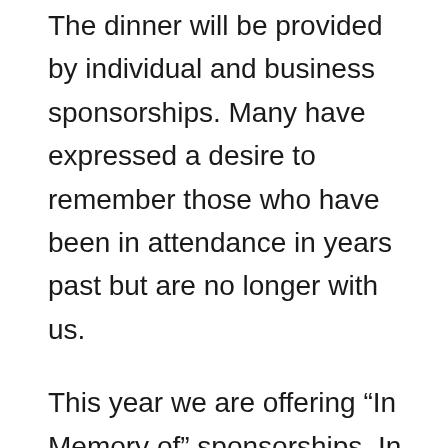The dinner will be provided by individual and business sponsorships. Many have expressed a desire to remember those who have been in attendance in years past but are no longer with us.
This year we are offering “In Memory of” sponsorships. In addition, due to our strong ties with MCAS Cherry Point, we are offering “Salute to” sponsorships for those who are serving in Afghanistan and around the world and cannot be here at this time.
Thank you to our current sponsors: Neuse River Region Association of REALTORS, Inc., Fisher Fuel